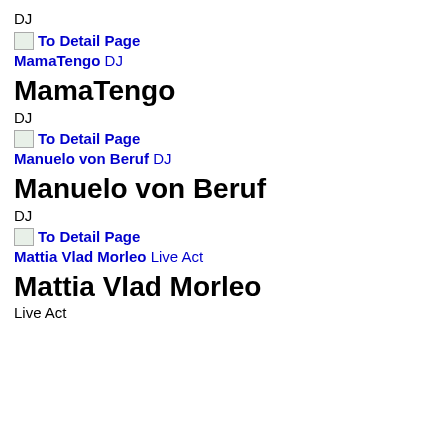DJ
To Detail Page MamaTengo DJ
MamaTengo
DJ
To Detail Page Manuelo von Beruf DJ
Manuelo von Beruf
DJ
To Detail Page Mattia Vlad Morleo Live Act
Mattia Vlad Morleo
Live Act